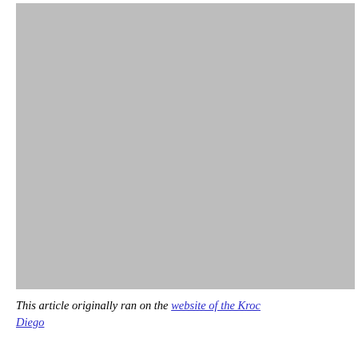[Figure (photo): A large gray placeholder image occupying most of the page]
This article originally ran on the website of the Kroc ... Diego